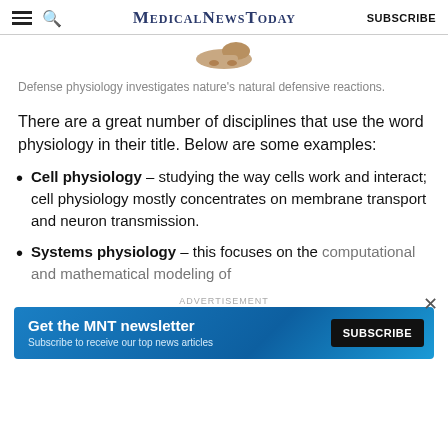MedicalNewsToday | SUBSCRIBE
[Figure (photo): Partial image of a foot/shoe at the top of the article]
Defense physiology investigates nature's natural defensive reactions.
There are a great number of disciplines that use the word physiology in their title. Below are some examples:
Cell physiology – studying the way cells work and interact; cell physiology mostly concentrates on membrane transport and neuron transmission.
Systems physiology – this focuses on the computational and mathematical modeling of
[Figure (infographic): Advertisement banner: Get the MNT newsletter – Subscribe to receive our top news articles. SUBSCRIBE button on right.]